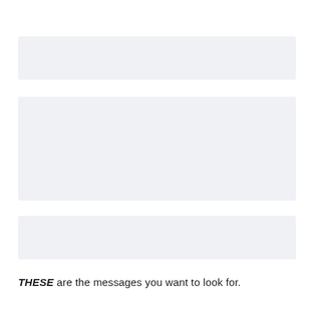[Figure (other): Three light gray/lavender horizontal rectangular bars stacked vertically, representing placeholder message blocks or UI elements.]
THESE are the messages you want to look for.